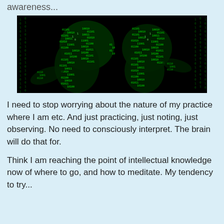awareness...
[Figure (photo): A Matrix-style digital art image showing human figures composed of cascading green binary code/characters against a dark background]
I need to stop worrying about the nature of my practice where I am etc. And just practicing, just noting, just observing. No need to consciously interpret. The brain will do that for.
Think I am reaching the point of intellectual knowledge now of where to go, and how to meditate. My tendency to try...